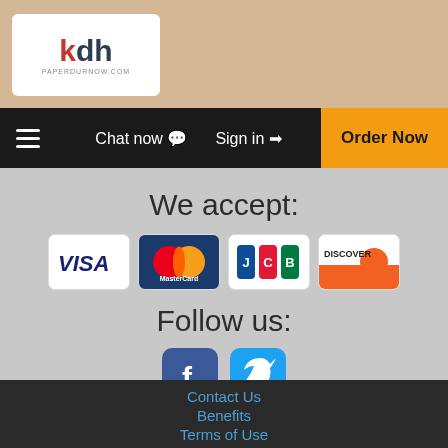[Figure (logo): KDH logo - paperdurnow.com website logo with red K and dark DH letters]
Chat now  Sign in  Order Now
We accept:
[Figure (infographic): Payment method logos: VISA, MasterCard, JCB, DISCOVER]
Follow us:
[Figure (infographic): Social media icons: Facebook and Twitter]
Contact Us  Benefits  Terms of Use